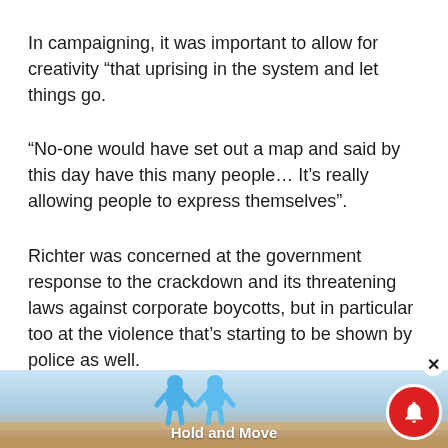In campaigning, it was important to allow for creativity “that uprising in the system and let things go.
“No-one would have set out a map and said by this day have this many people… It’s really allowing people to express themselves”.
Richter was concerned at the government response to the crackdown and its threatening laws against corporate boycotts, but in particular too at the violence that’s starting to be shown by police as well.
[Figure (screenshot): Advertisement banner at the bottom showing a 'Hold and Move' app/game with two blue cartoon figures, with a close button (x) and notification bell icon overlay.]